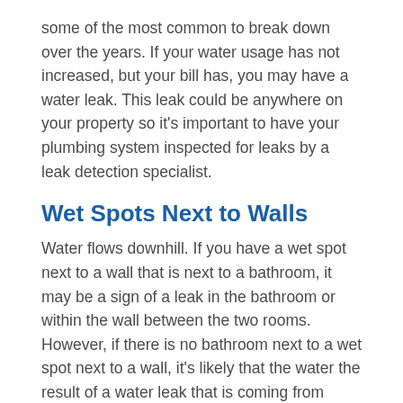some of the most common to break down over the years. If your water usage has not increased, but your bill has, you may have a water leak. This leak could be anywhere on your property so it's important to have your plumbing system inspected for leaks by a leak detection specialist.
Wet Spots Next to Walls
Water flows downhill. If you have a wet spot next to a wall that is next to a bathroom, it may be a sign of a leak in the bathroom or within the wall between the two rooms. However, if there is no bathroom next to a wet spot next to a wall, it's likely that the water the result of a water leak that is coming from above and running down the wall and pooling at the floor. In these situations, it's important to contact a plumber